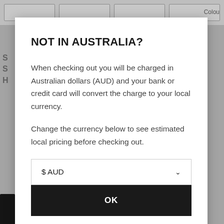NOT IN AUSTRALIA?
When checking out you will be charged in Australian dollars (AUD) and your bank or credit card will convert the charge to your local currency.
Change the currency below to see estimated local pricing before checking out.
$ AUD
OK